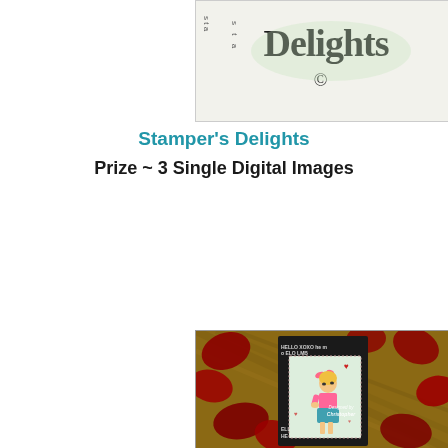[Figure (photo): Stamper's Delights logo/brand image with cursive text on light background, partially visible with vertical text on left side]
Stamper's Delights
Prize ~ 3 Single Digital Images
[Figure (photo): Handmade card featuring a cartoon girl with blonde hair and pink bow, wearing pink top and teal skirt, surrounded by red rose petals on a wood surface. Card has HELLO XOXO text border and says 'Designed by Christopher']